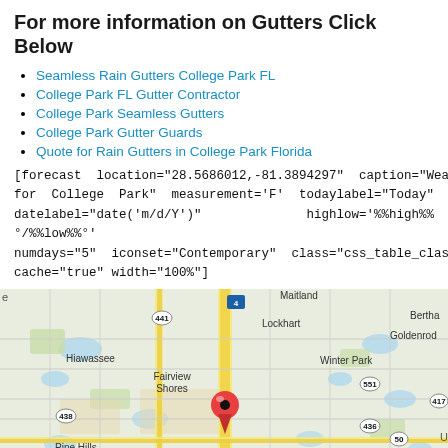For more information on Gutters Click Below
Seamless Rain Gutters College Park FL
College Park FL Gutter Contractor
College Park Seamless Gutters
College Park Gutter Guards
Quote for Rain Gutters in College Park Florida
[forecast location="28.5686012,-81.3894297" caption="Weather for College Park" measurement='F' todaylabel="Today" datelabel="date('m/d/Y')" highlow='%%high%%°/%%low%%°' numdays="5" iconset="Contemporary" class="css_table_class" cache="true" width="100%"]
[Figure (map): Google map showing College Park area in Orlando, Florida with a red location pin marker. Surrounding areas visible include Lockhart, Hiawassee, Fairview Shores, Winter Park, Maitland, Bertha, Goldenrod, Pine Hills, Orlovista, Azalea Park, and Orlando label. Roads including 441, 4, 551, 417, 436, 438, 408, 50 are visible.]